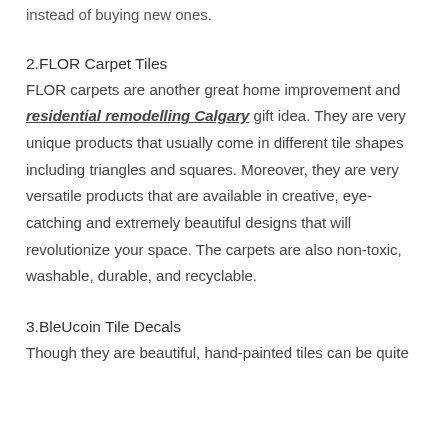instead of buying new ones.
2.FLOR Carpet Tiles
FLOR carpets are another great home improvement and residential remodelling Calgary gift idea. They are very unique products that usually come in different tile shapes including triangles and squares. Moreover, they are very versatile products that are available in creative, eye-catching and extremely beautiful designs that will revolutionize your space. The carpets are also non-toxic, washable, durable, and recyclable.
3.BleUcoin Tile Decals
Though they are beautiful, hand-painted tiles can be quite